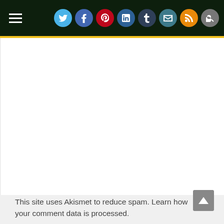Navigation header with hamburger menu and social media icons (Twitter, Facebook, Pinterest, LinkedIn, Tumblr, Email, RSS, Search)
This site uses Akismet to reduce spam. Learn how your comment data is processed.